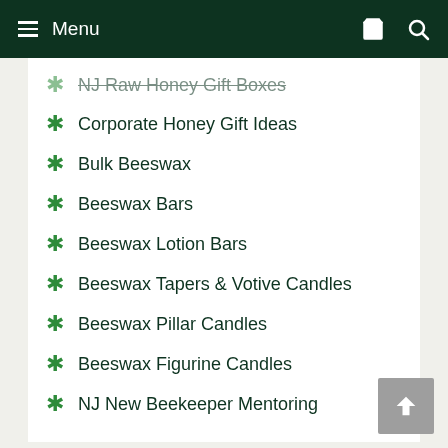Menu
NJ Raw Honey Gift Boxes
Corporate Honey Gift Ideas
Bulk Beeswax
Beeswax Bars
Beeswax Lotion Bars
Beeswax Tapers & Votive Candles
Beeswax Pillar Candles
Beeswax Figurine Candles
NJ New Beekeeper Mentoring